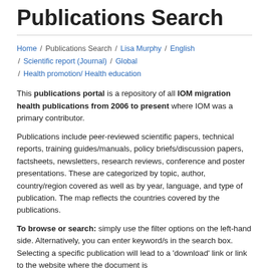Publications Search
Home / Publications Search / Lisa Murphy / English / Scientific report (Journal) / Global / Health promotion/ Health education
This publications portal is a repository of all IOM migration health publications from 2006 to present where IOM was a primary contributor.
Publications include peer-reviewed scientific papers, technical reports, training guides/manuals, policy briefs/discussion papers, factsheets, newsletters, research reviews, conference and poster presentations. These are categorized by topic, author, country/region covered as well as by year, language, and type of publication. The map reflects the countries covered by the publications.
To browse or search: simply use the filter options on the left-hand side. Alternatively, you can enter keyword/s in the search box. Selecting a specific publication will lead to a 'download' link or link to the website where the document is